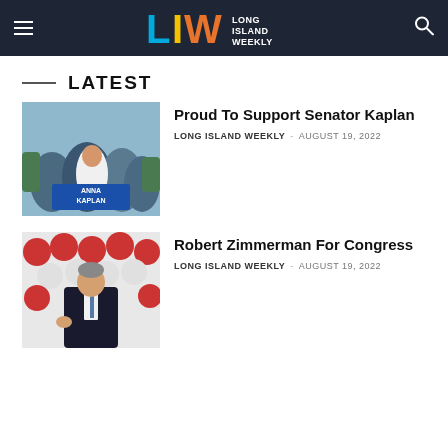Long Island Weekly
LATEST
[Figure (photo): Campaign rally photo showing Anna Kaplan with supporters holding campaign signs]
Proud To Support Senator Kaplan
LONG ISLAND WEEKLY – AUGUST 19, 2022
[Figure (photo): Robert Zimmerman speaking at an event with red and white balloons in background]
Robert Zimmerman For Congress
LONG ISLAND WEEKLY – AUGUST 19, 2022